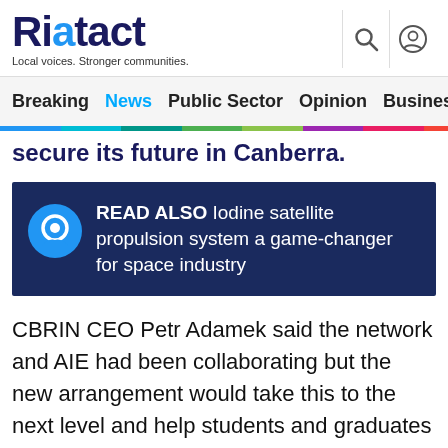Riotact — Local voices. Stronger communities.
Breaking  News  Public Sector  Opinion  Business
secure its future in Canberra.
READ ALSO  Iodine satellite propulsion system a game-changer for space industry
CBRIN CEO Petr Adamek said the network and AIE had been collaborating but the new arrangement would take this to the next level and help students and graduates to grow their business skills.